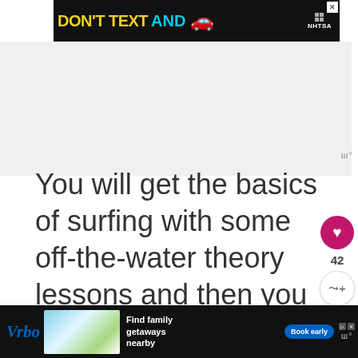[Figure (other): Top advertisement banner: DON'T TEXT AND (car emoji) NHTSA ad on black background with close X button]
[Figure (other): Gray/white content area placeholder with watermark logo in bottom right]
You will get the basics of surfing with some off-the-water theory lessons and then you jump in the water for some practice in this 1h 30-minute lesson.
► Book your surf lessons with th... Airbnb
[Figure (other): What's Next panel: Visit Cancun in August -... with thumbnail]
[Figure (other): Bottom Vrbo advertisement banner: Find family getaways nearby, Book early button]